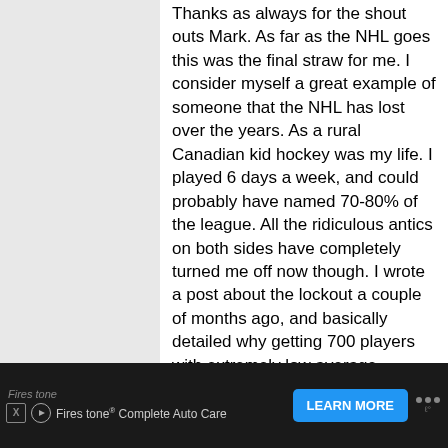Thanks as always for the shout outs Mark. As far as the NHL goes this was the final straw for me. I consider myself a great example of someone that the NHL has lost over the years. As a rural Canadian kid hockey was my life. I played 6 days a week, and could probably have named 70-80% of the league. All the ridiculous antics on both sides have completely turned me off now though. I wrote a post about the lockout a couple of months ago, and basically detailed why getting 700 players with extremely low average business IQs to agree on such complex labour agreements was insane, and thinking they could compete with titans of industry at a
[Figure (other): Scroll-to-top button: gray square with white upward arrow]
[Figure (other): Advertisement bar at bottom: dark background, Firestone brand logo with 'X' and play icons, text 'Firestone Complete Auto Care', blue 'LEARN MORE' button, and a menu icon with dots and degree symbol]